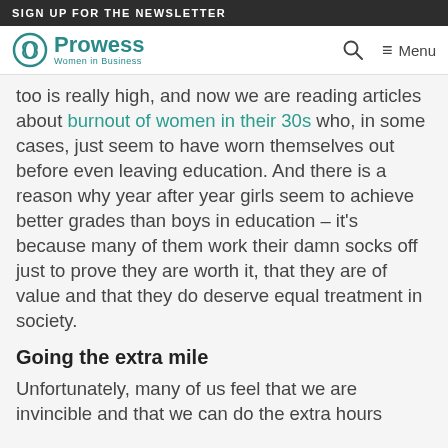SIGN UP FOR THE NEWSLETTER
Prowess Women in Business — Menu
too is really high, and now we are reading articles about burnout of women in their 30s who, in some cases, just seem to have worn themselves out before even leaving education. And there is a reason why year after year girls seem to achieve better grades than boys in education – it's because many of them work their damn socks off just to prove they are worth it, that they are of value and that they do deserve equal treatment in society.
Going the extra mile
Unfortunately, many of us feel that we are invincible and that we can do the extra hours